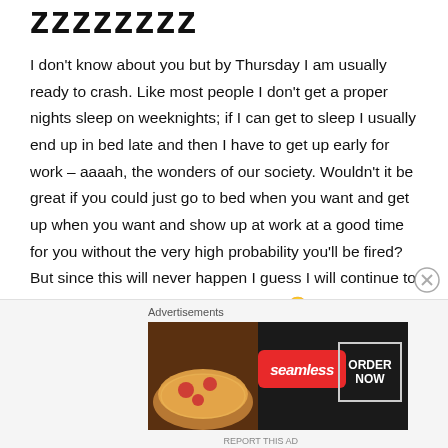zzzzzzzz
I don't know about you but by Thursday I am usually ready to crash. Like most people I don't get a proper nights sleep on weeknights; if I can get to sleep I usually end up in bed late and then I have to get up early for work – aaaah, the wonders of our society. Wouldn't it be great if you could just go to bed when you want and get up when you want and show up at work at a good time for you without the very high probability you'll be fired? But since this will never happen I guess I will continue to work within the confines of the rules. 🙂

Not all healthy eating plans talk about sleep, some
[Figure (illustration): Seamless food delivery advertisement banner showing pizza image on left, red Seamless logo badge in center, and ORDER NOW button on right, on dark background]